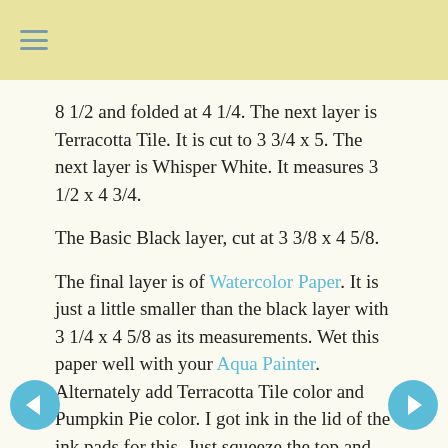≡
8 1/2 and folded at 4 1/4.  The next layer is Terracotta Tile.  It is cut to 3 3/4 x 5.  The next layer is Whisper White.  It measures 3 1/2 x 4 3/4.
The Basic Black layer, cut at 3 3/8 x 4 5/8.
The final layer is of Watercolor Paper.  It is just a little smaller than the black layer with 3 1/4 x 4 5/8 as its measurements.  Wet this paper well with your Aqua Painter.  Alternately add Terracotta Tile color and Pumpkin Pie color.  I got ink in the lid of the ink pads for this.  Just squeeze the top and bottom together.  Let this dry.  Scrap around the edges of this layer with